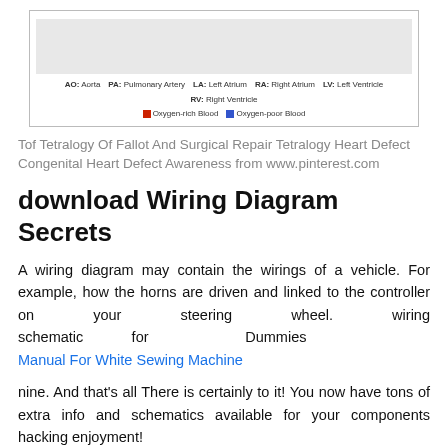[Figure (schematic): Heart diagram legend showing AO: Aorta, PA: Pulmonary Artery, LA: Left Atrium, RA: Right Atrium, LV: Left Ventricle, RV: Right Ventricle, with red for Oxygen-rich Blood and blue for Oxygen-poor Blood]
Tof Tetralogy Of Fallot And Surgical Repair Tetralogy Heart Defect Congenital Heart Defect Awareness from www.pinterest.com
download Wiring Diagram Secrets
A wiring diagram may contain the wirings of a vehicle. For example, how the horns are driven and linked to the controller on your steering wheel. wiring schematic for Dummies Manual For White Sewing Machine
nine. And that's all There is certainly to it! You now have tons of extra info and schematics available for your components hacking enjoyment!